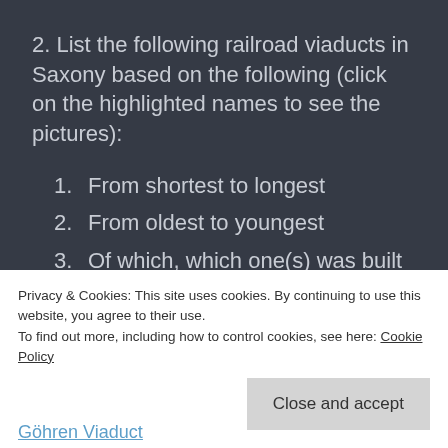2. List the following railroad viaducts in Saxony based on the following (click on the highlighted names to see the pictures):
1. From shortest to longest
2. From oldest to youngest
3. Of which, which one(s) was built by Johann Andreas Schubert?
Privacy & Cookies: This site uses cookies. By continuing to use this website, you agree to their use.
To find out more, including how to control cookies, see here: Cookie Policy
Close and accept
Göhren Viaduct